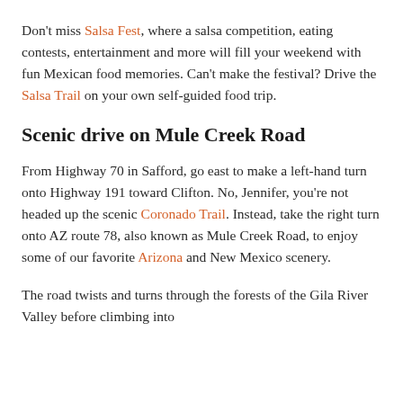Don't miss Salsa Fest, where a salsa competition, eating contests, entertainment and more will fill your weekend with fun Mexican food memories. Can't make the festival? Drive the Salsa Trail on your own self-guided food trip.
Scenic drive on Mule Creek Road
From Highway 70 in Safford, go east to make a left-hand turn onto Highway 191 toward Clifton. No, Jennifer, you're not headed up the scenic Coronado Trail. Instead, take the right turn onto AZ route 78, also known as Mule Creek Road, to enjoy some of our favorite Arizona and New Mexico scenery.
The road twists and turns through the forests of the Gila River Valley before climbing into